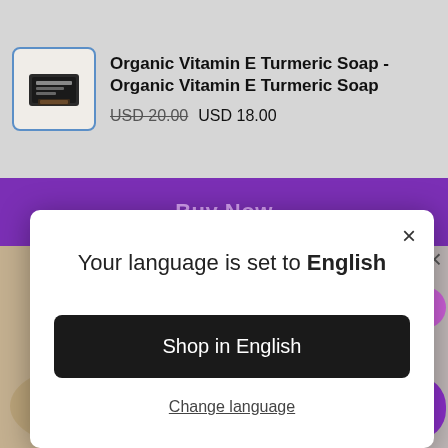[Figure (screenshot): Product listing showing Organic Vitamin E Turmeric Soap with product image thumbnail on left and title/pricing on right]
Organic Vitamin E Turmeric Soap - Organic Vitamin E Turmeric Soap
USD 20.00  USD 18.00
Buy Now
[Figure (screenshot): Language selection modal dialog over e-commerce page background with 'Your language is set to English', 'Shop in English' button, and 'Change language' link]
Your language is set to English
Shop in English
Change language
25% OFF!